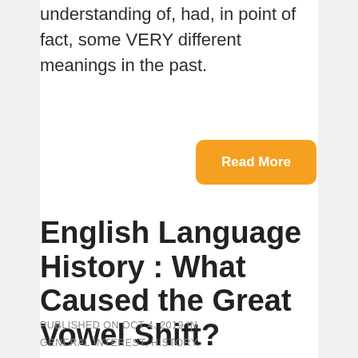understanding of, had, in point of fact, some VERY different meanings in the past.
[Figure (other): Orange 'Read More' button]
English Language History : What Caused the Great Vowel Shift?
PUBLISHED ON OCT 4, 2019 IN
GENERAL INTEREST, HISTORY,